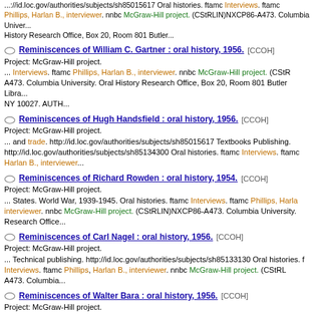...://id.loc.gov/authorities/subjects/sh85015617 Oral histories. ftamc Interviews. ftamc Phillips, Harlan B., interviewer. nnbc McGraw-Hill project. (CStRLIN)NXCP86-A473. Columbia University. Oral History Research Office, Box 20, Room 801 Butler...
Reminiscences of William C. Gartner : oral history, 1956. [CCOH]
Project: McGraw-Hill project.
... Interviews. ftamc Phillips, Harlan B., interviewer. nnbc McGraw-Hill project. (CStRLIN)NXCP86-A473. Columbia University. Oral History Research Office, Box 20, Room 801 Butler Library, NY 10027. AUTH...
Reminiscences of Hugh Handsfield : oral history, 1956. [CCOH]
Project: McGraw-Hill project.
... and trade. http://id.loc.gov/authorities/subjects/sh85015617 Textbooks Publishing. http://id.loc.gov/authorities/subjects/sh85134300 Oral histories. ftamc Interviews. ftamc Harlan B., interviewer...
Reminiscences of Richard Rowden : oral history, 1954. [CCOH]
Project: McGraw-Hill project.
... States. World War, 1939-1945. Oral histories. ftamc Interviews. ftamc Phillips, Harlan interviewer. nnbc McGraw-Hill project. (CStRLIN)NXCP86-A473. Columbia University. Research Office...
Reminiscences of Carl Nagel : oral history, 1956. [CCOH]
Project: McGraw-Hill project.
... Technical publishing. http://id.loc.gov/authorities/subjects/sh85133130 Oral histories. ftamc Interviews. ftamc Phillips, Harlan B., interviewer. nnbc McGraw-Hill project. (CStRLIN)NXCP86-A473. Columbia...
Reminiscences of Walter Bara : oral history, 1956. [CCOH]
Project: McGraw-Hill project.
...://id.loc.gov/authorities/subjects/sh85015617 Business literature Publishing. http://id.loc.gov/authorities/subjects/sh85018305 Oral histories. ftamc Interviews. ftamc Harlan B., interviewer. nnbc McGraw-Hill project. (CStRLIN)NXCP86...